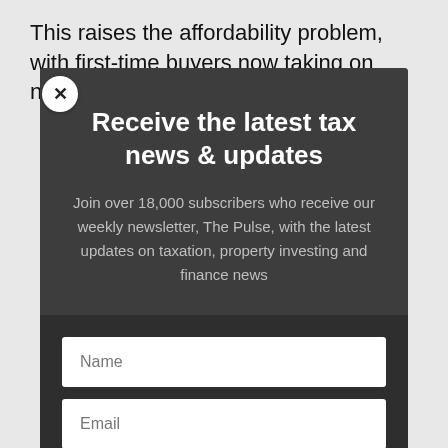This raises the affordability problem, with first-time buyers now taking on near-peak levels of
Receive the latest tax news & updates
Join over 18,000 subscribers who receive our weekly newsletter, The Pulse, with the latest updates on taxation, property investing and finance news
Name
Email
SUBSCRIBE!